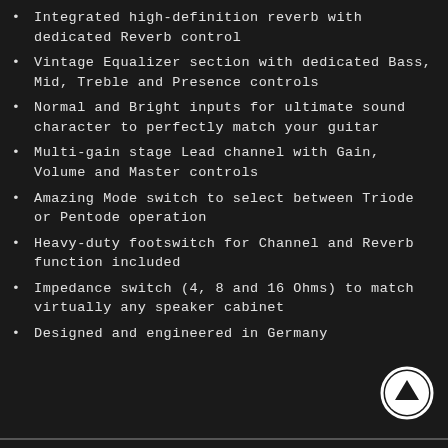Integrated high-definition reverb with dedicated Reverb control
Vintage Equalizer section with dedicated Bass, Mid, Treble and Presence controls
Normal and Bright inputs for ultimate sound character to perfectly match your guitar
Multi-gain stage Lead channel with Gain, Volume and Master controls
Amazing Mode switch to select between Triode or Pentode operation
Heavy-duty footswitch for Channel and Reverb function included
Impedance switch (4, 8 and 16 Ohms) to match virtually any speaker cabinet
Designed and engineered in Germany
[Figure (illustration): Circular scroll-up arrow button icon in white on dark background, positioned bottom right]